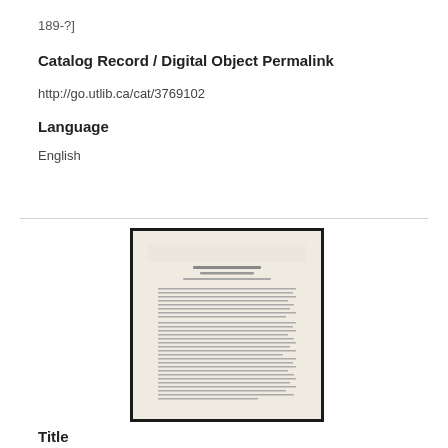189-?]
Catalog Record / Digital Object Permalink
http://go.utlib.ca/cat/3769102
Language
English
[Figure (photo): Scanned image of an old document page with printed text, shown in a dark border frame. The document appears to be a historical text with small printed paragraphs.]
Title